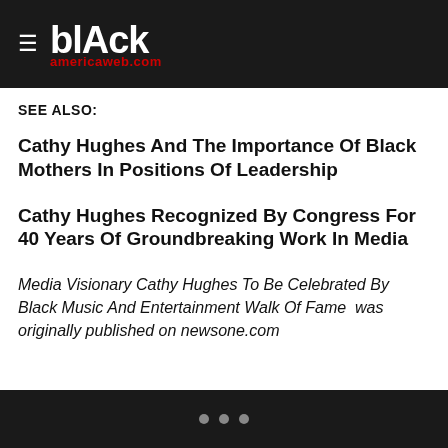≡ blAck americaweb.com
SEE ALSO:
Cathy Hughes And The Importance Of Black Mothers In Positions Of Leadership
Cathy Hughes Recognized By Congress For 40 Years Of Groundbreaking Work In Media
Media Visionary Cathy Hughes To Be Celebrated By Black Music And Entertainment Walk Of Fame  was originally published on newsone.com
• • •